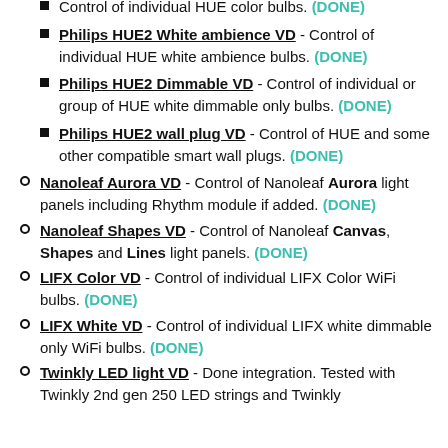Control of individual HUE color bulbs. (DONE)
Philips HUE2 White ambience VD - Control of individual HUE white ambience bulbs. (DONE)
Philips HUE2 Dimmable VD - Control of individual or group of HUE white dimmable only bulbs. (DONE)
Philips HUE2 wall plug VD - Control of HUE and some other compatible smart wall plugs. (DONE)
Nanoleaf Aurora VD - Control of Nanoleaf Aurora light panels including Rhythm module if added. (DONE)
Nanoleaf Shapes VD - Control of Nanoleaf Canvas, Shapes and Lines light panels. (DONE)
LIFX Color VD - Control of individual LIFX Color WiFi bulbs. (DONE)
LIFX White VD - Control of individual LIFX white dimmable only WiFi bulbs. (DONE)
Twinkly LED light VD - Done integration. Tested with Twinkly 2nd gen 250 LED strings and Twinkly